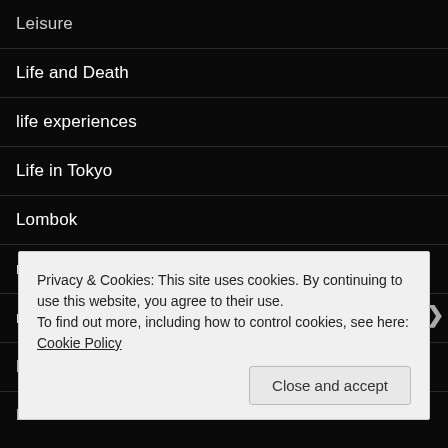Leisure
Life and Death
life experiences
Life in Tokyo
Lombok
magic
massage
Medicine
Meditation
m
m
Privacy & Cookies: This site uses cookies. By continuing to use this website, you agree to their use.
To find out more, including how to control cookies, see here: Cookie Policy
Close and accept